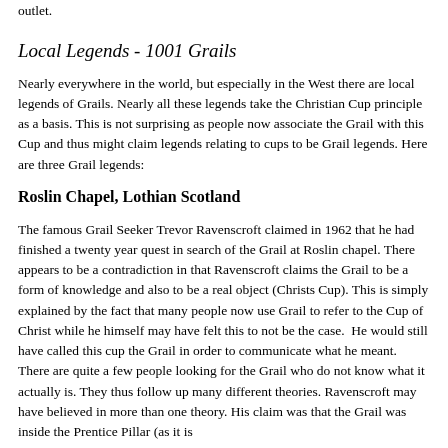outlet.
Local Legends - 1001 Grails
Nearly everywhere in the world, but especially in the West there are local legends of Grails. Nearly all these legends take the Christian Cup principle as a basis. This is not surprising as people now associate the Grail with this Cup and thus might claim legends relating to cups to be Grail legends. Here are three Grail legends:
Roslin Chapel, Lothian Scotland
The famous Grail Seeker Trevor Ravenscroft claimed in 1962 that he had finished a twenty year quest in search of the Grail at Roslin chapel. There appears to be a contradiction in that Ravenscroft claims the Grail to be a form of knowledge and also to be a real object (Christs Cup). This is simply explained by the fact that many people now use Grail to refer to the Cup of Christ while he himself may have felt this to not be the case.  He would still have called this cup the Grail in order to communicate what he meant. There are quite a few people looking for the Grail who do not know what it actually is. They thus follow up many different theories. Ravenscroft may have believed in more than one theory. His claim was that the Grail was inside the Prentice Pillar (as it is